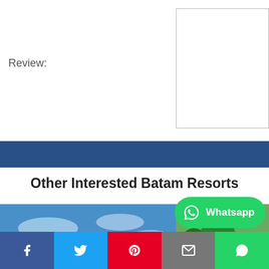Review:
[Figure (screenshot): Input/form box on the right side of the page header area]
[Figure (other): Dark blue horizontal navigation/divider bar]
Other Interested Batam Resorts
[Figure (photo): Photo of a Batam resort with overwater bungalows, tropical architecture, clear blue sky and waterfront]
[Figure (photo): Partial second resort card with tropical greenery and beach]
[Figure (other): WhatsApp floating button with icon and text 'Whatsapp']
[Figure (other): Social sharing bar with Facebook, Twitter, Pinterest, Email, and WhatsApp buttons]